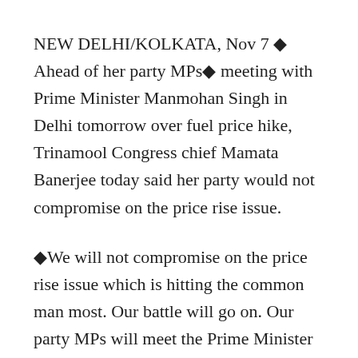NEW DELHI/KOLKATA, Nov 7 ◆ Ahead of her party MPs◆ meeting with Prime Minister Manmohan Singh in Delhi tomorrow over fuel price hike, Trinamool Congress chief Mamata Banerjee today said her party would not compromise on the price rise issue.
◆We will not compromise on the price rise issue which is hitting the common man most. Our battle will go on. Our party MPs will meet the Prime Minister tomorrow, if he gives time, and express our grievances and listen to what he says,◆ the West Bengal Chief Minister told PTI.